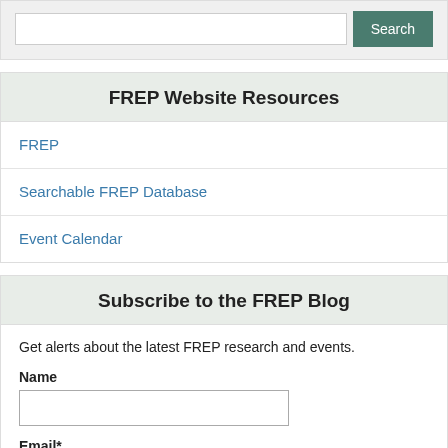[Figure (screenshot): Search input box with green Search button]
FREP Website Resources
FREP
Searchable FREP Database
Event Calendar
Subscribe to the FREP Blog
Get alerts about the latest FREP research and events.
Name
Email*